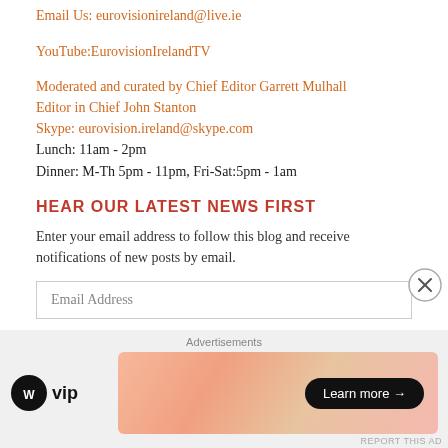Email Us: eurovisionireland@live.ie
YouTube:EurovisionIrelandTV
Moderated and curated by Chief Editor Garrett Mulhall
Editor in Chief John Stanton
Skype: eurovision.ireland@skype.com
Lunch: 11am - 2pm
Dinner: M-Th 5pm - 11pm, Fri-Sat:5pm - 1am
HEAR OUR LATEST NEWS FIRST
Enter your email address to follow this blog and receive notifications of new posts by email.
Email Address
[Figure (other): Advertisement bar with WordPress VIP logo and a gradient orange banner with 'Learn more' button and close (X) icon]